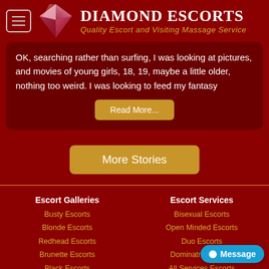Diamond Escorts — Quality Escort and Visiting Massage Service
OK, searching rather than surfing, I was looking at pictures, and movies of young girls, 18, 19, maybe a little older, nothing too weird. I was looking to feed my fantasy
Read More...
More Stories
Escort Galleries
Busty Escorts
Blonde Escorts
Redhead Escorts
Brunette Escorts
Black Escorts
Mixed Race Escorts
Petite Escorts
Escort Services
Bisexual Escorts
Open Minded Escorts
Duo Escorts
Dominatrix Escorts
All Services Escorts
Broad Minded
Kinky Escorts